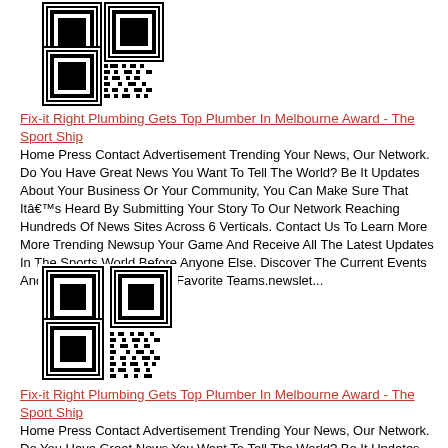[Figure (other): QR code image (black and white square barcode)]
Fix-it Right Plumbing Gets Top Plumber In Melbourne Award - The Sport Ship
Home Press Contact Advertisement Trending Your News, Our Network. Do You Have Great News You Want To Tell The World? Be It Updates About Your Business Or Your Community, You Can Make Sure That Itâ€™s Heard By Submitting Your Story To Our Network Reaching Hundreds Of News Sites Across 6 Verticals. Contact Us To Learn More More Trending Newsup Your Game And Receive All The Latest Updates In The Sports World Before Anyone Else. Discover The Current Events And Latest Score For Your Favorite Teams.newslet...
[Figure (other): QR code image (black and white square barcode)]
Fix-it Right Plumbing Gets Top Plumber In Melbourne Award - The Sport Ship
Home Press Contact Advertisement Trending Your News, Our Network. Do You Have Great News You Want To Tell The World? Be It Updates About Your Business Or Your Community, You Can Make Sure That Itâ€™s Heard By Submitting Your Story To Our Network Reaching Hundreds Of News Sites Across 6 Verticals.